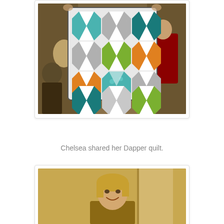[Figure (photo): Photo of a quilt with pinwheel blocks in teal, green, orange, and gray octagon shapes, held up by a person. Other people are visible in the background in a room setting.]
Chelsea shared her Dapper quilt.
[Figure (photo): Photo of a smiling woman with blonde hair standing in front of a yellow/cream wall with what appears to be a door or frame behind her.]